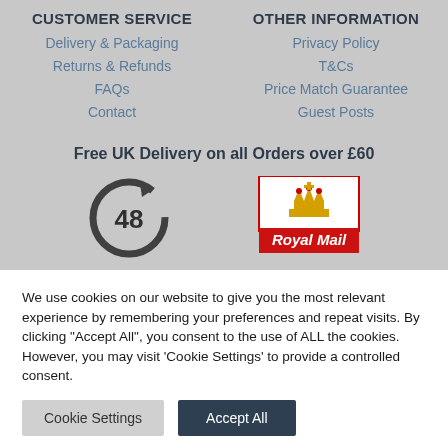CUSTOMER SERVICE
Delivery & Packaging
Returns & Refunds
FAQs
Contact
OTHER INFORMATION
Privacy Policy
T&Cs
Price Match Guarantee
Guest Posts
Free UK Delivery on all Orders over £60
[Figure (illustration): 48-hour delivery circular arrow icon]
[Figure (logo): Royal Mail logo with crown]
We use cookies on our website to give you the most relevant experience by remembering your preferences and repeat visits. By clicking "Accept All", you consent to the use of ALL the cookies. However, you may visit 'Cookie Settings' to provide a controlled consent.
Cookie Settings
Accept All